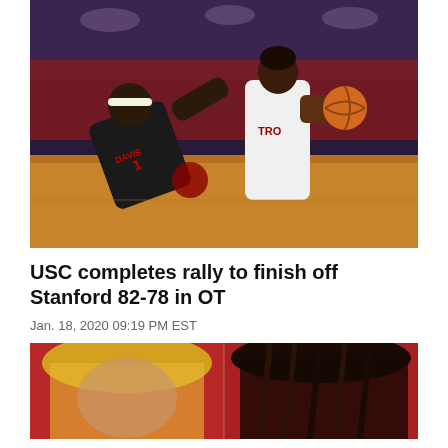[Figure (photo): Basketball game photo showing a USC Trojans player in white jersey holding the ball being defended by a Stanford player in black jersey (#1 Davis) who is falling, taken at an indoor arena]
USC completes rally to finish off Stanford 82-78 in OT
Jan. 18, 2020 09:19 PM EST
[Figure (photo): Partial photo showing people with hair visible, appears to be close-up faces at a sporting event]